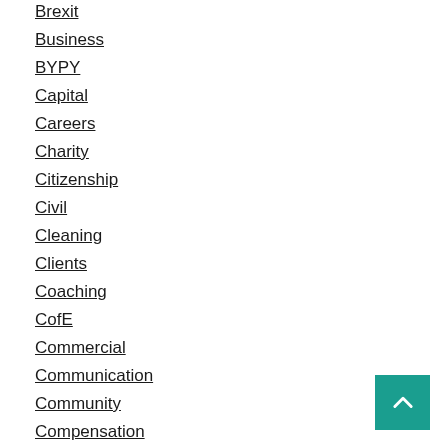Brexit
Business
BYPY
Capital
Careers
Charity
Citizenship
Civil
Cleaning
Clients
Coaching
CofE
Commercial
Communication
Community
Compensation
Compliance